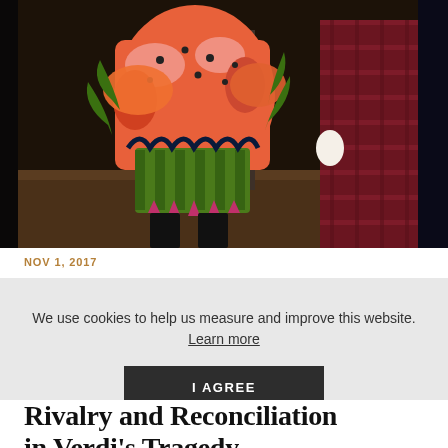[Figure (photo): Two performers in elaborate colorful costumes on a stage. The left figure wears an orange, green and pink feathered costume with dramatic spiked accessories. The right figure wears a dark red plaid wrap/cloak.]
NOV 1, 2017
We use cookies to help us measure and improve this website. Learn more
I AGREE
Rivalry and Reconciliation in Verdi's Tragedy